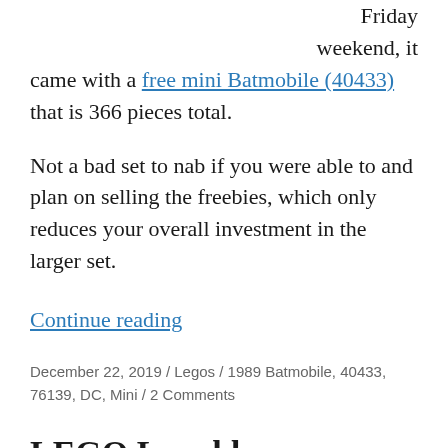Friday weekend, it came with a free mini Batmobile (40433) that is 366 pieces total.
Not a bad set to nab if you were able to and plan on selling the freebies, which only reduces your overall investment in the larger set.
Continue reading
December 22, 2019 / Legos / 1989 Batmobile, 40433, 76139, DC, Mini / 2 Comments
LEGO Lunchbox